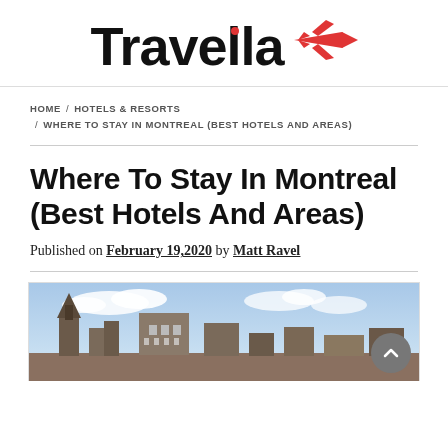[Figure (logo): Travella logo with airplane icon in red]
HOME / HOTELS & RESORTS / WHERE TO STAY IN MONTREAL (BEST HOTELS AND AREAS)
Where To Stay In Montreal (Best Hotels And Areas)
Published on February 19,2020 by Matt Ravel
[Figure (photo): Cityscape photo of Montreal showing historic buildings and church spires against a blue sky with clouds]